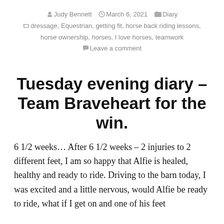Judy Bennett  March 6, 2021  Diary  dressage, Equestrian, getting fit, horse back riding lessons, horse ownership, horses, I love horses, teamwork  Leave a comment
Tuesday evening diary – Team Braveheart for the win.
6 1/2 weeks… After 6 1/2 weeks – 2 injuries to 2 different feet, I am so happy that Alfie is healed, healthy and ready to ride. Driving to the barn today, I was excited and a little nervous, would Alfie be ready to ride, what if I get on and one of his feet